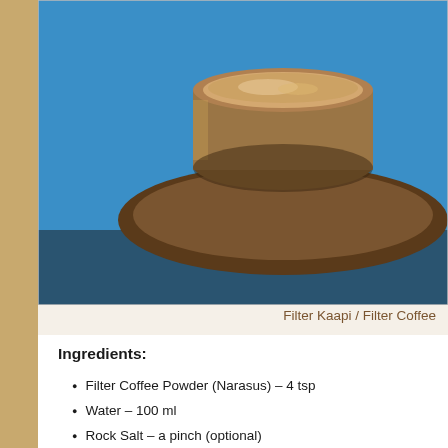[Figure (photo): Top-down or angled view of a traditional South Indian filter coffee in a metal tumbler and saucer (davara), placed on a blue surface. The coffee has froth on top.]
Filter Kaapi / Filter Coffee
Ingredients:
Filter Coffee Powder (Narasus) – 4 tsp
Water – 100 ml
Rock Salt – a pinch (optional)
Milk – 2 cups
Sugar – as required
[Figure (photo): Close-up overhead view of a metal container with coffee powder/grounds on a dark granite surface, with another vessel visible at the top of the frame.]